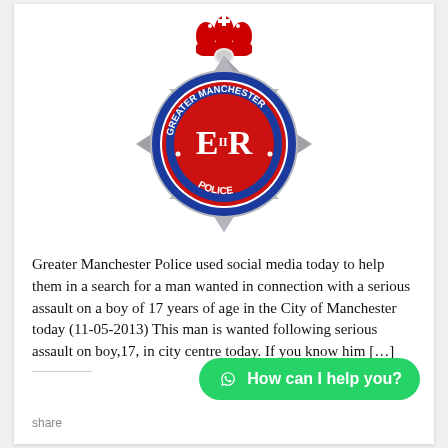[Figure (logo): Greater Manchester Police badge logo with red crown on top, eight-pointed grey star badge, blue circle with 'GREATER MANCHESTER POLICE' text, red circle in center with 'E R' cypher]
Greater Manchester Police used social media today to help them in a search for a man wanted in connection with a serious assault on a boy of 17 years of age in the City of Manchester today (11-05-2013) This man is wanted following serious assault on boy,17, in city centre today. If you know him [...]
[Figure (other): WhatsApp chat button: green rounded pill button with WhatsApp icon and text 'How can I help you?']